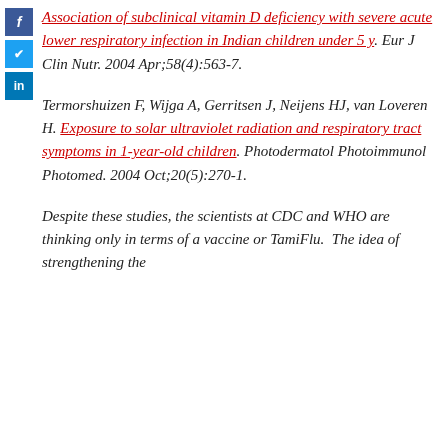Association of subclinical vitamin D deficiency with severe acute lower respiratory infection in Indian children under 5 y. Eur J Clin Nutr. 2004 Apr;58(4):563-7.
Termorshuizen F, Wijga A, Gerritsen J, Neijens HJ, van Loveren H. Exposure to solar ultraviolet radiation and respiratory tract symptoms in 1-year-old children. Photodermatol Photoimmunol Photomed. 2004 Oct;20(5):270-1.
Despite these studies, the scientists at CDC and WHO are thinking only in terms of a vaccine or TamiFlu. The idea of strengthening the immune system...